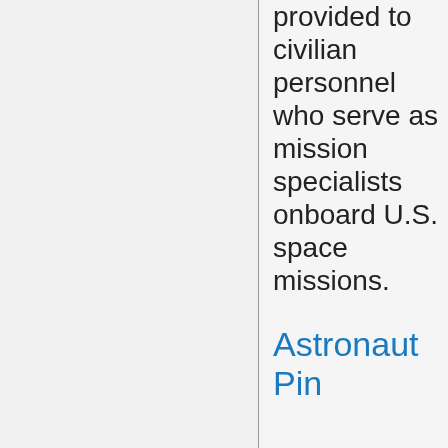provided to civilian personnel who serve as mission specialists onboard U.S. space missions.
Astronaut Pin